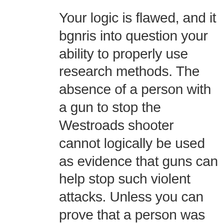Your logic is flawed, and it bgnris into question your ability to properly use research methods. The absence of a person with a gun to stop the Westroads shooter cannot logically be used as evidence that guns can help stop such violent attacks. Unless you can prove that a person was kept from bringing in a gun to Westroads, your hypothesis is mere speculation. Again, the absence of a fact (a person with a gun could